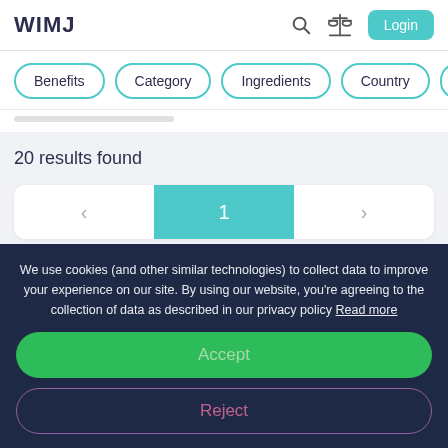WIMJ
Benefits
Category
Ingredients
Country
20 results found
< 1 >
We use cookies (and other similar technologies) to collect data to improve your experience on our site. By using our website, you're agreeing to the collection of data as described in our privacy policy Read more
Accept
Reject